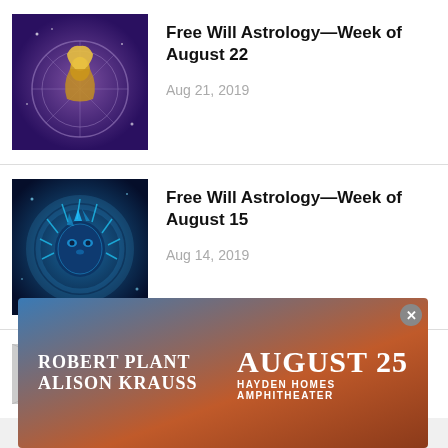[Figure (illustration): Purple fantasy illustration of an astrology chart with a golden female figure (Virgo/Sagittarius) in the center]
Free Will Astrology—Week of August 22
Aug 21, 2019
[Figure (illustration): Blue glowing lion-like Leo zodiac illustration on dark background]
Free Will Astrology—Week of August 15
Aug 14, 2019
[Figure (illustration): Partial grayscale astrology illustration (partially visible at bottom)]
Free Will Astrology—Week of
[Figure (infographic): Advertisement banner for Robert Plant and Alison Krauss concert on August 25 at Hayden Homes Amphitheater]